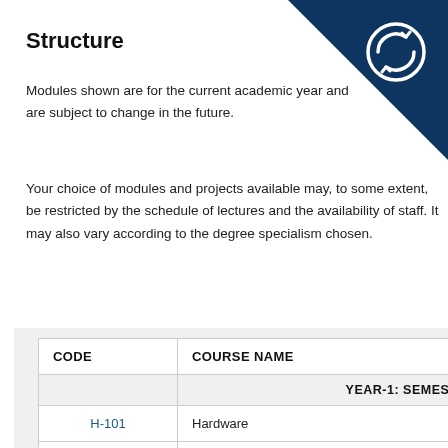Structure
Modules shown are for the current academic year and are subject to change in the future.
Your choice of modules and projects available may, to some extent, be restricted by the schedule of lectures and the availability of staff. It may also vary according to the degree specialism chosen.
| CODE | COURSE NAME |
| --- | --- |
|  | YEAR-1: SEMESTER (merged) |
| H-101 | Hardware |
| CS-101 | Programming I |